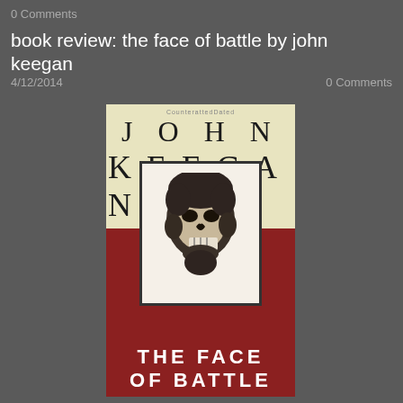0 Comments
book review: the face of battle by john keegan
4/12/2014    0 Comments
[Figure (illustration): Book cover of 'The Face of Battle' by John Keegan. Top portion has a cream/yellow background with author name 'JOHN KEEGAN' in large serif letters. Center has a framed black-and-white image of a skull/death mask sculpture. Bottom portion has a dark red/maroon background with white bold text reading 'THE FACE OF BATTLE'.]